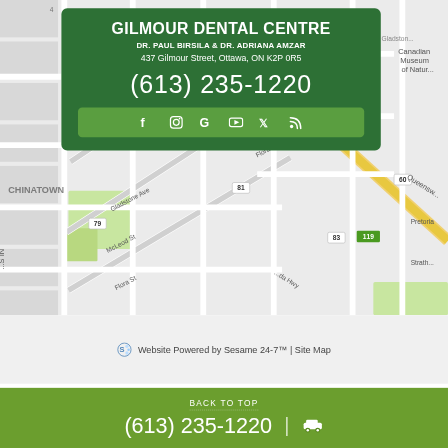[Figure (map): Google Maps street map showing the area around Gilmour Street, Ottawa, ON, including Chinatown, Gladstone Ave, McLeod St, Flora St, and nearby highways.]
GILMOUR DENTAL CENTRE
DR. PAUL BIRSILA & DR. ADRIANA AMZAR
437 Gilmour Street, Ottawa, ON K2P 0R5
(613) 235-1220
[Figure (infographic): Social media icon bar with Facebook, Instagram, Google, YouTube, Twitter, and RSS icons on a lighter green rounded rectangle background.]
Website Powered by Sesame 24-7™ | Site Map
BACK TO TOP
(613) 235-1220